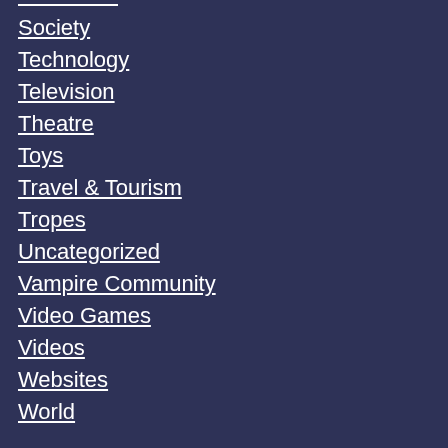Society
Technology
Television
Theatre
Toys
Travel & Tourism
Tropes
Uncategorized
Vampire Community
Video Games
Videos
Websites
World